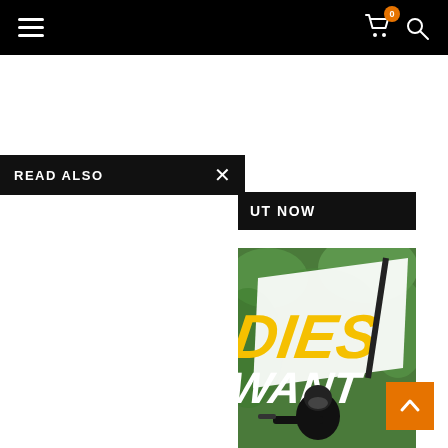Navigation bar with hamburger menu, cart icon (0), and search icon
READ ALSO
OUT NOW
[Figure (photo): Partial book/magazine cover showing large yellow 'DIES WANT' text with a person in black tactical gear and helmet aiming a weapon, set against a green forest background]
Scroll to top button (orange, arrow up)